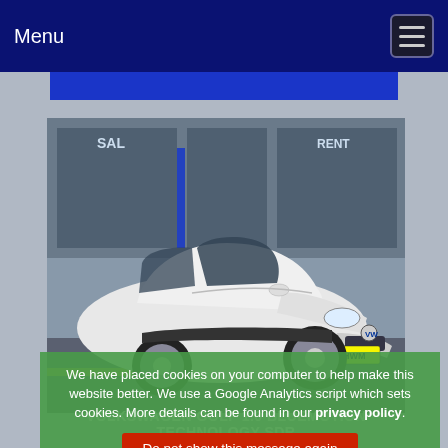Menu
[Figure (photo): White Volkswagen Golf hatchback (registration GF16 HWM) parked in front of a car dealership showroom. The car is viewed from the front-left angle, showing its silver alloy wheels and VW badge. Dealership signage visible in the background including 'SAL' and 'RENT' partial text.]
We have placed cookies on your computer to help make this website better. We use a Google Analytics script which sets cookies. More details can be found in our privacy policy.
Do not show this message again
VOLKSWAGEN GOLF 1.0 BLUEMOTION TECHNOLOGY SDR | 22,910 miles